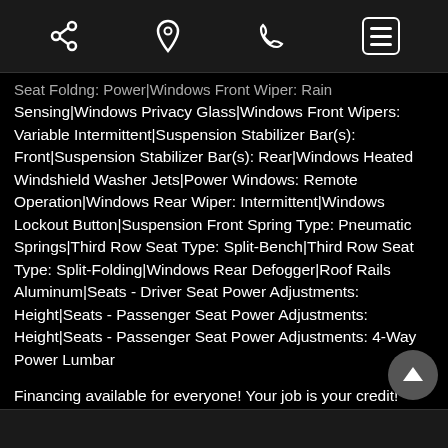[share icon] [location icon] [phone icon] [menu button]
Seat Foldng: Power|Windows Front Wiper: Rain Sensing|Windows Privacy Glass|Windows Front Wipers: Variable Intermittent|Suspension Stabilizer Bar(s): Front|Suspension Stabilizer Bar(s): Rear|Windows Heated Windshield Washer Jets|Power Windows: Remote Operation|Windows Rear Wiper: Intermittent|Windows Lockout Button|Suspension Front Spring Type: Pneumatic Springs|Third Row Seat Type: Split-Bench|Third Row Seat Type: Split-Folding|Windows Rear Defogger|Roof Rails Aluminum|Seats - Driver Seat Power Adjustments: Height|Seats - Passenger Seat Power Adjustments: Height|Seats - Passenger Seat Power Adjustments: 4-Way Power Lumbar
Financing available for everyone! Your job is your credit! BAD credit history ok!! Over 40 years experience in helping good people with bad credit problems!! GAP insurance and warranties available on all cars!! AUTOUSECARS.COM